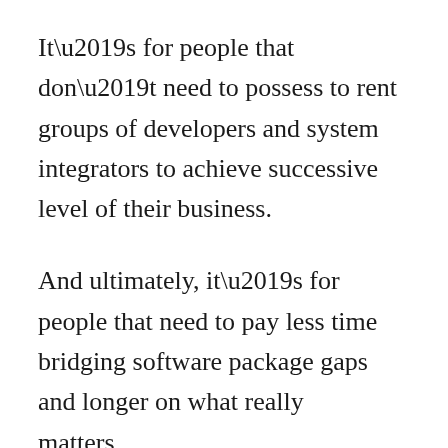It’s for people that don’t need to possess to rent groups of developers and system integrators to achieve successive level of their business.
And ultimately, it’s for people that need to pay less time bridging software package gaps and longer on what really matters…
Acquiring a lot of customers and creating a lot of sales.